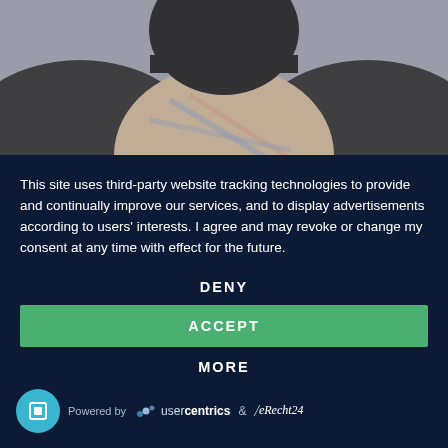[Figure (photo): Person wearing a knit hat and plaid shirt, photo cropped to upper body, background is gray]
This site uses third-party website tracking technologies to provide and continually improve our services, and to display advertisements according to users' interests. I agree and may revoke or change my consent at any time with effect for the future.
DENY
ACCEPT
MORE
Powered by usercentrics & eRecht24